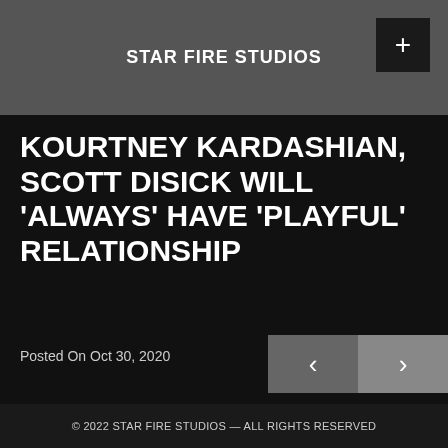STAR FIRE STUDIOS
KOURTNEY KARDASHIAN, SCOTT DISICK WILL 'ALWAYS' HAVE 'PLAYFUL' RELATIONSHIP
Posted On Oct 30, 2020
© 2022 STAR FIRE STUDIOS — ALL RIGHTS RESERVED